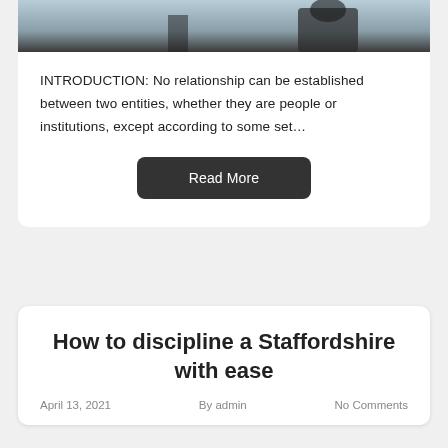[Figure (photo): Partial photo of a person in dark clothing, cropped at top of page]
INTRODUCTION: No relationship can be established between two entities, whether they are people or institutions, except according to some set…
Read More
How to discipline a Staffordshire with ease
April 13, 2021   By admin   No Comments